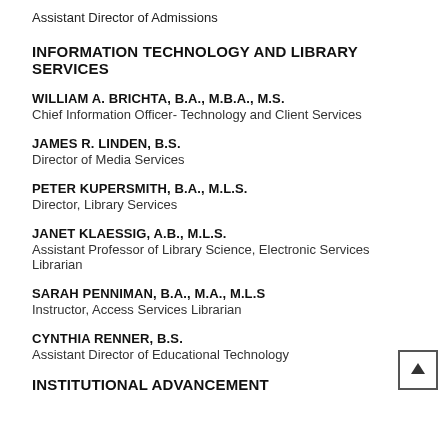Assistant Director of Admissions
INFORMATION TECHNOLOGY AND LIBRARY SERVICES
WILLIAM A. BRICHTA, B.A., M.B.A., M.S.
Chief Information Officer- Technology and Client Services
JAMES R. LINDEN, B.S.
Director of Media Services
PETER KUPERSMITH, B.A., M.L.S.
Director, Library Services
JANET KLAESSIG, A.B., M.L.S.
Assistant Professor of Library Science, Electronic Services Librarian
SARAH PENNIMAN, B.A., M.A., M.L.S
Instructor, Access Services Librarian
CYNTHIA RENNER, B.S.
Assistant Director of Educational Technology
INSTITUTIONAL ADVANCEMENT